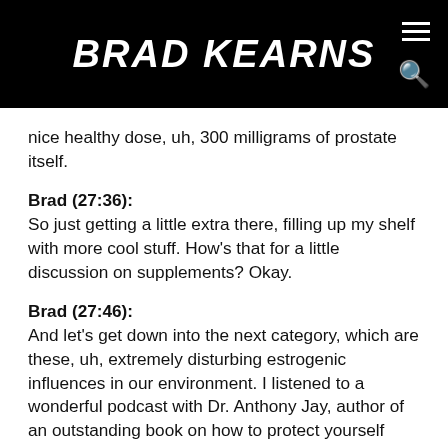BRAD KEARNS
nice healthy dose, uh, 300 milligrams of prostate itself.
Brad (27:36):
So just getting a little extra there, filling up my shelf with more cool stuff. How’s that for a little discussion on supplements? Okay.
Brad (27:46):
And let’s get down into the next category, which are these, uh, extremely disturbing estrogenic influences in our environment. I listened to a wonderful podcast with Dr. Anthony Jay, author of an outstanding book on how to protect yourself from the estrogenic influences in the environment. It’s called Estrogeneration and I believe I heard him on Paul Saladino’s Fundamental Health Podcast and those guys got deep into it and got me highly motivated and inspired to minimize my exposure to estrogenic, uh, influences. Probably the worst one are the plastics that touch your food or drink. So those plastic water bottles, those plastic containers, that food served